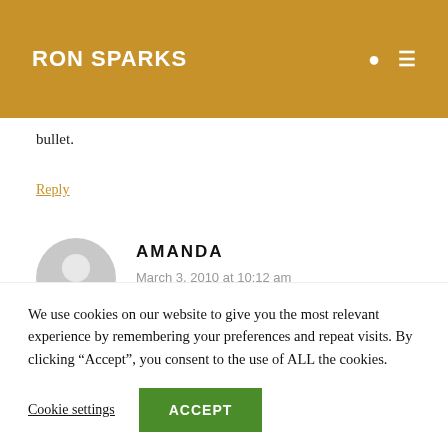RON SPARKS
bullet.
Reply
[Figure (illustration): User avatar silhouette, gray circle with person icon]
AMANDA
March 3, 2010 at 10:12 am
Everyone at Seaworld Orlando we need to set
We use cookies on our website to give you the most relevant experience by remembering your preferences and repeat visits. By clicking “Accept”, you consent to the use of ALL the cookies.
Cookie settings
ACCEPT